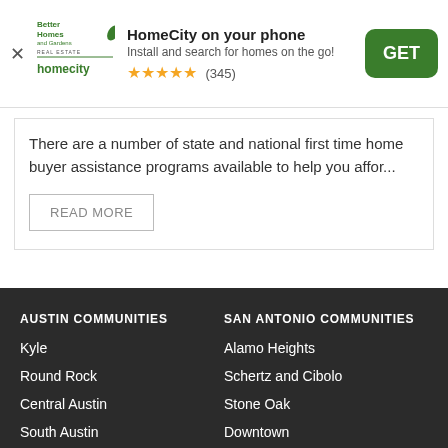[Figure (logo): Better Homes and Gardens Real Estate / HomeCity logo with app banner showing title, subtitle, star rating, and GET button]
There are a number of state and national first time home buyer assistance programs available to help you affor...
READ MORE
AUSTIN COMMUNITIES
SAN ANTONIO COMMUNITIES
Kyle
Alamo Heights
Round Rock
Schertz and Cibolo
Central Austin
Stone Oak
South Austin
Downtown